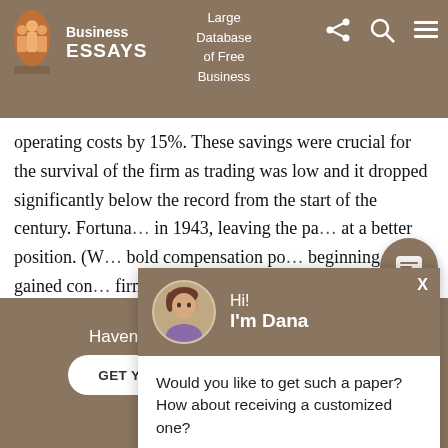Large Database of Free Business | Business Essays
operating costs by 15%. These savings were crucial for the survival of the firm as trading was low and it dropped significantly below the record from the start of the century. Fortuna... in 1943, leaving the pa... at a better position. (W... bold compensation po... beginning, gained con... firm and paid off by ob... and the industry.
[Figure (screenshot): Chat popup with avatar of Dana saying 'Hi! I'm Dana' and message 'Would you like to get such a paper? How about receiving a customized one? Check it out']
Haven't found the Essay You Want?
GET YOUR CUSTOM ESSAY SAMPLE
For Only $13.90/page